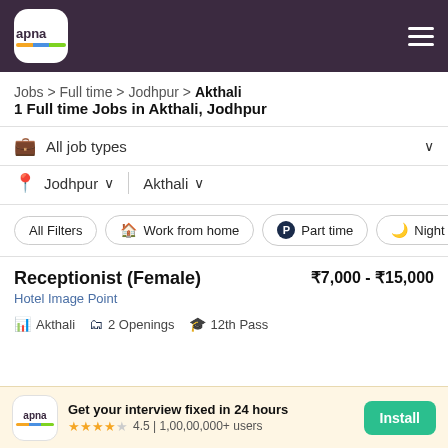apna
Jobs > Full time > Jodhpur > Akthali
1 Full time Jobs in Akthali, Jodhpur
All job types
Jodhpur | Akthali
All Filters | Work from home | Part time | Night Sh...
Receptionist (Female)
Hotel Image Point
Akthali  2 Openings  12th Pass
₹7,000 - ₹15,000
Get your interview fixed in 24 hours
4.5 | 1,00,00,000+ users
Install